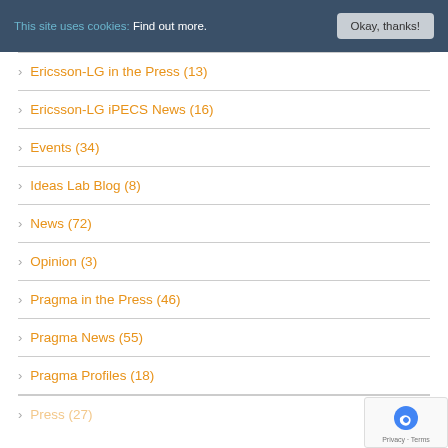This site uses cookies: Find out more. Okay, thanks!
> Ericsson-LG in the Press (13)
> Ericsson-LG iPECS News (16)
> Events (34)
> Ideas Lab Blog (8)
> News (72)
> Opinion (3)
> Pragma in the Press (46)
> Pragma News (55)
> Pragma Profiles (18)
> Press (27)